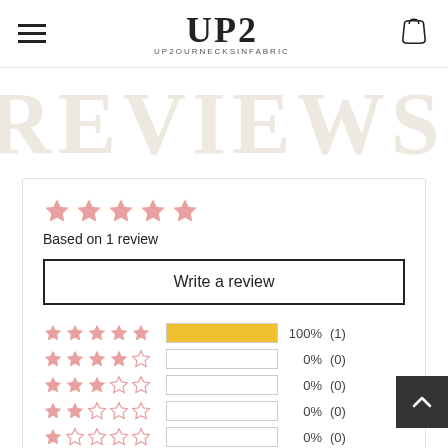UP2 UP2OURNECKSINFABRIC
REVIEWS
[Figure (infographic): Star rating summary showing 5 stars based on 1 review, with a Write a review button and breakdown bars: 5 stars 100% (1), 4 stars 0% (0), 3 stars 0% (0), 2 stars 0% (0), 1 star 0% (0)]